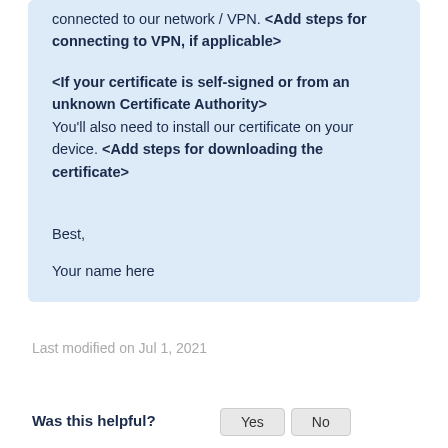connected to our network / VPN. <Add steps for connecting to VPN, if applicable>

<If your certificate is self-signed or from an unknown Certificate Authority>
You'll also need to install our certificate on your device. <Add steps for downloading the certificate>


Best,

Your name here
Last modified on Jul 1, 2021
Was this helpful?  Yes  No